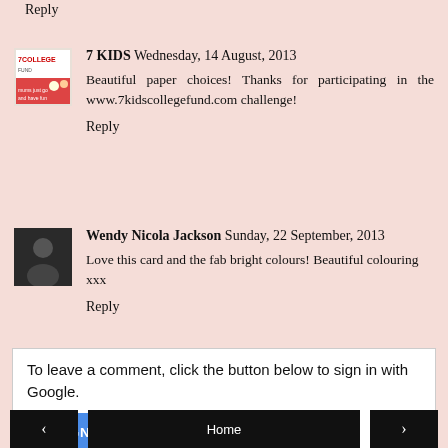Reply
7 KIDS  Wednesday, 14 August, 2013
Beautiful paper choices! Thanks for participating in the www.7kidscollegefund.com challenge!
Reply
Wendy Nicola Jackson  Sunday, 22 September, 2013
Love this card and the fab bright colours! Beautiful colouring xxx
Reply
To leave a comment, click the button below to sign in with Google.
SIGN IN WITH GOOGLE
Home